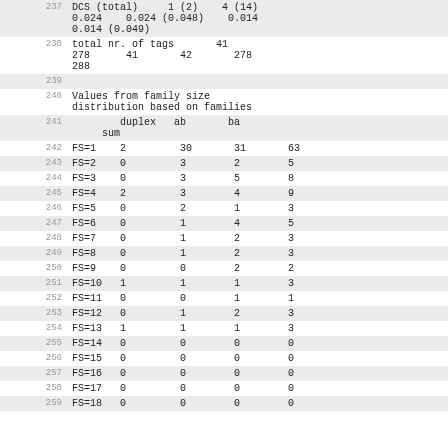237  DCS (total)     1 (2)   4 (14)
     0.024   0.024 (0.048)   0.014
     0.014 (0.049)
238  total nr. of tags        41
     278      41       42      278
     288
239
240  Values from family size distribution based on families
241       duplex   ab       ba
     sum
242  FS=1    2        30       31       63
243  FS=2    0        3        2        5
244  FS=3    0        3        5        8
245  FS=4    2        3        4        9
246  FS=5    0        2        1        3
247  FS=6    0        1        4        5
248  FS=7    0        1        2        3
249  FS=8    0        1        2        3
250  FS=9    0        0        2        2
251  FS=10   1        1        1        3
252  FS=11   0        0        1        1
253  FS=12   0        1        2        3
254  FS=13   1        1        1        3
255  FS=14   0        0        0        0
256  FS=15   0        0        0        0
257  FS=16   0        0        0        0
258  FS=17   0        0        0        0
259  FS=18   0        0        0        0